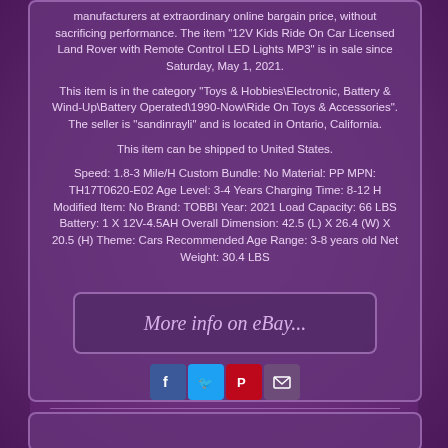manufacturers at extraordinary online bargain price, without sacrificing performance. The item "12V Kids Ride On Car Licensed Land Rover with Remote Control LED Lights MP3" is in sale since Saturday, May 1, 2021.
This item is in the category "Toys & Hobbies\Electronic, Battery & Wind-Up\Battery Operated\1990-Now\Ride On Toys & Accessories". The seller is "sandinrayli" and is located in Ontario, California.
This item can be shipped to United States.
Speed: 1.8-3 Mile/H Custom Bundle: No Material: PP MPN: TH17T0620-E02 Age Level: 3-4 Years Charging Time: 8-12 H Modified Item: No Brand: TOBBI Year: 2021 Load Capacity: 66 LBS Battery: 1 X 12V-4.5AH Overall Dimension: 42.5 (L) X 26.4 (W) X 20.5 (H) Theme: Cars Recommended Age Range: 3-8 years old Net Weight: 30.4 LBS
[Figure (other): Button/link styled element with text 'More info on eBay...']
[Figure (other): Social media sharing icons: Facebook, Twitter, Pinterest, Email]